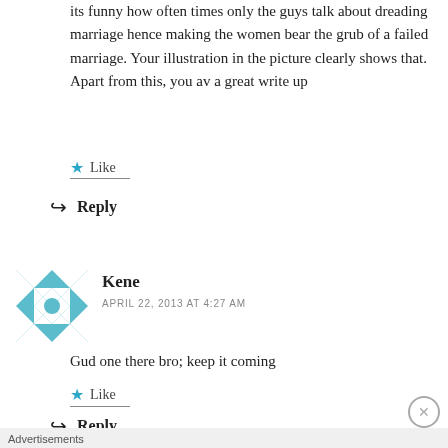its funny how often times only the guys talk about dreading marriage hence making the women bear the grub of a failed marriage. Your illustration in the picture clearly shows that. Apart from this, you av a great write up
Like
Reply
[Figure (illustration): Teal and white geometric quilt-pattern avatar for commenter Kene]
Kene
APRIL 22, 2013 AT 4:27 AM
Gud one there bro; keep it coming
Like
Reply
Advertisements